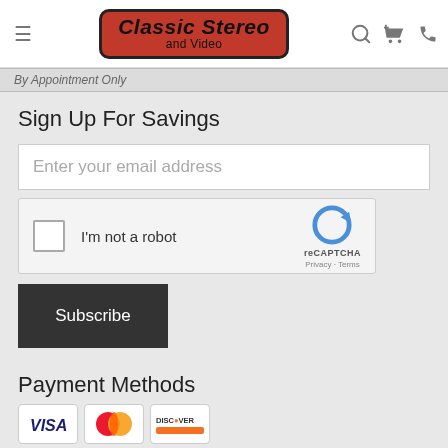[Figure (logo): Classic Stereo and Video logo - red rounded rectangle with italic bold black text]
By Appointment Only
Sign Up For Savings
Enter your email address
[Figure (other): reCAPTCHA widget with checkbox labeled I'm not a robot]
Subscribe
Payment Methods
[Figure (other): Payment method logos: VISA, MasterCard, Discover]